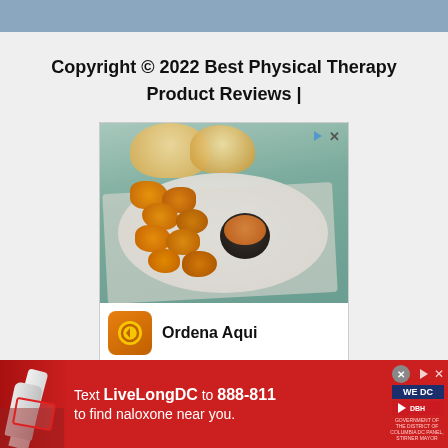Copyright © 2022 Best Physical Therapy Product Reviews |
[Figure (photo): Advertisement showing fried chicken nuggets on a white plate with dipping sauce, bread rolls in background on teal surface. Below the food photo: orange icon with 'Ordena Aqui' text, and a map section showing 'Pollo Campero' location in Herndon 10AM-10PM with navigation arrow.]
[Figure (photo): Bottom banner advertisement: Red background with hand holding naloxone pen on left, white bold text 'Text LiveLongDC to 888-811 to find naloxone near you.' and DC government logos on right.]